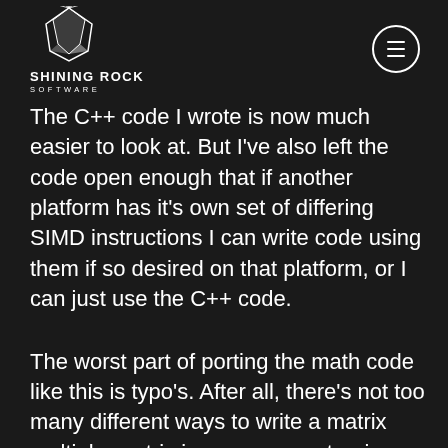SHINING ROCK SOFTWARE
The C++ code I wrote is now much easier to look at. But I've also left the code open enough that if another platform has it's own set of differing SIMD instructions I can write code using them if so desired on that platform, or I can just use the C++ code.
The worst part of porting the math code like this is typo's. After all, there's not too many different ways to write a matrix multiply, matrix inverse, or quaternion interpolate. So any errors tend to be errors in typing. You write .x, .y, .z, or .w (or similar)